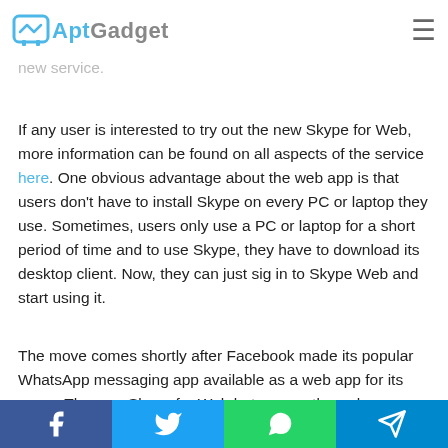AptGadget
the new Skype for Web will enter a new testing phase to invite people into it and receive their feedback about the new service.
If any user is interested to try out the new Skype for Web, more information can be found on all aspects of the service here. One obvious advantage about the web app is that users don't have to install Skype on every PC or laptop they use. Sometimes, users only use a PC or laptop for a short period of time and to use Skype, they have to download its desktop client. Now, they can just sig in to Skype Web and start using it.
The move comes shortly after Facebook made its popular WhatsApp messaging app available as a web app for its users. The new Skype for Web beta currently works on